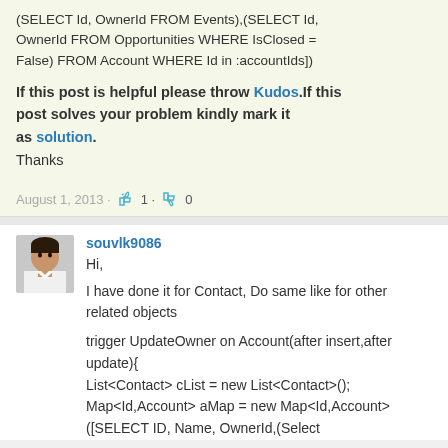(SELECT Id, OwnerId FROM Events),(SELECT Id, OwnerId FROM Opportunities WHERE IsClosed = False) FROM Account WHERE Id in :accountIds])
If this post is helpful please throw Kudos.If this post solves your problem kindly mark it as solution.
Thanks
August 1, 2013 · 1 · 0
souvlk9086
[Figure (photo): Avatar/profile photo of user souvlk9086 - male person with dark hair wearing white shirt]
Hi,

I have done it for Contact, Do same like for other related objects

trigger UpdateOwner on Account(after insert,after update){
List<Contact> cList = new List<Contact>();
Map<Id,Account> aMap = new Map<Id,Account>([SELECT ID, Name, OwnerId,(Select